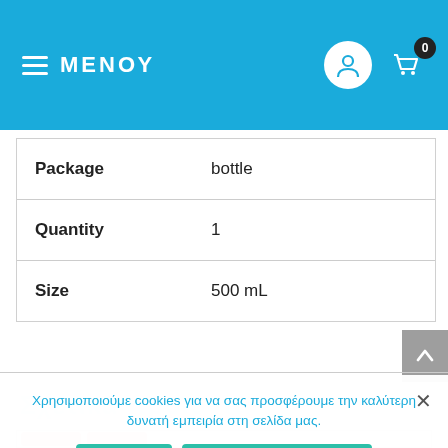ΜΕΝΟΥ
| Property | Value |
| --- | --- |
| Package | bottle |
| Quantity | 1 |
| Size | 500 mL |
Χρησιμοποιούμε cookies για να σας προσφέρουμε την καλύτερη δυνατή εμπειρία στη σελίδα μας.
Ενταξει
Διαβάστε περισσότερα